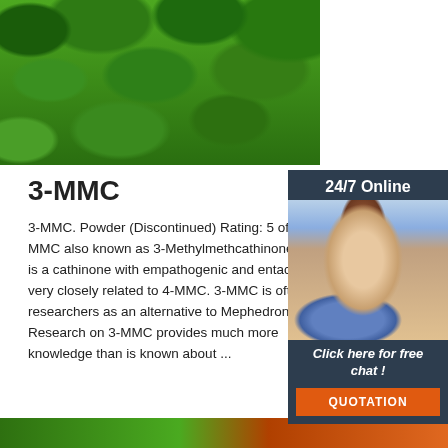[Figure (photo): Green tree foliage background hero image]
[Figure (photo): Sidebar with 24/7 Online customer support agent photo, chat link, and QUOTATION button]
3-MMC
3-MMC. Powder (Discontinued) Rating: 5 of 5. 6 MMC also known as 3-Methylmethcathinone or 3- is a cathinone with empathogenic and entactoge very closely related to 4-MMC. 3-MMC is often u researchers as an alternative to Mephedrone. Research on 3-MMC provides much more knowledge than is known about ...
[Figure (other): Get Price green button]
[Figure (logo): TOP logo in orange with dot pattern above]
[Figure (photo): Bottom strip image with green and orange colors]